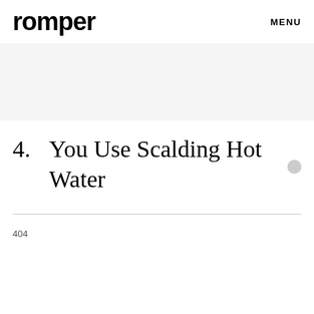romper   MENU
4.  You Use Scalding Hot Water
404